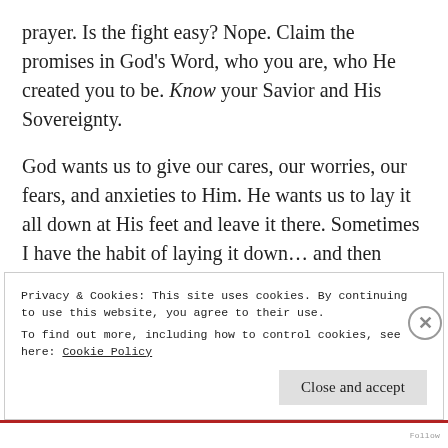prayer. Is the fight easy? Nope. Claim the promises in God's Word, who you are, who He created you to be. Know your Savior and His Sovereignty.
God wants us to give our cares, our worries, our fears, and anxieties to Him. He wants us to lay it all down at His feet and leave it there. Sometimes I have the habit of laying it down... and then picking it right back up. He wants us to
Privacy & Cookies: This site uses cookies. By continuing to use this website, you agree to their use.
To find out more, including how to control cookies, see here: Cookie Policy
Close and accept